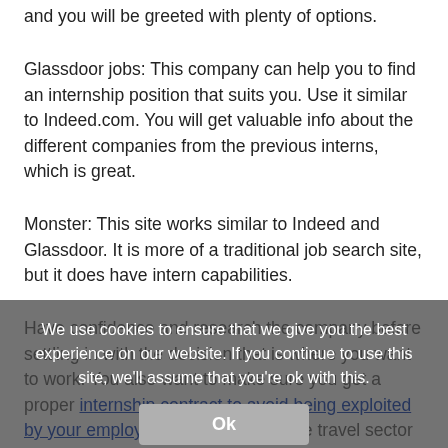and you will be greeted with plenty of options.
Glassdoor jobs: This company can help you to find an internship position that suits you. Use it similar to Indeed.com. You will get valuable info about the different companies from the previous interns, which is great.
Monster: This site works similar to Indeed and Glassdoor. It is more of a traditional job search site, but it does have intern capabilities.
Have confidence and research the company before settling in with the decision that is where you want to work. You also want to make sure you get a proper internship contract to avoid being exploited by your employer. Talk to those in the travel sector and see how they like it and what advice they can give you. Doing
We use cookies to ensure that we give you the best experience on our website. If you continue to use this site, we'll assume that you're ok with this.